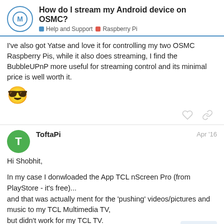How do I stream my Android device on OSMC? | Help and Support | Raspberry Pi
I've also got Yatse and love it for controlling my two OSMC Raspberry Pis, while it also does streaming, I find the BubbleUPnP more useful for streaming control and its minimal price is well worth it. 😎
ToftaPi  Apr '16
Hi Shobhit,

In my case I donwloaded the App TCL nScreen Pro (from PlayStore - it's free)...
and that was actually ment for the 'pushing' videos/pictures and music to my TCL Multimedia TV,
but didn't work for my TCL TV.
I notised that my Toshiba TV and also my
6 / 10